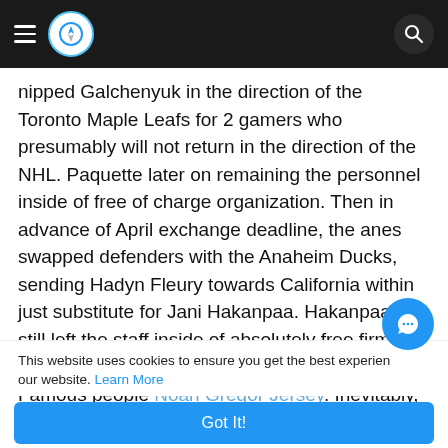Navigation bar with hamburger menu, compass logo, and search icon
nipped Galchenyuk in the direction of the Toronto Maple Leafs for 2 gamers who presumably will not return in the direction of the NHL. Paquette later on remaining the personnel inside of free of charge organization. Then in advance of April exchange deadline, the anes swapped defenders with the Anaheim Ducks, sending Hadyn Fleury towards California within just substitute for Jani Hakanpaa. Hakanpaa too still left the staff inside of absolutely free firm, signing a a few-12 months offer with the Dallas Famous people Noah Gregor Jersey. Inevitably, the staff members dropped in just the moment
This website uses cookies to ensure you get the best experience on our website. Learn More
Got It!